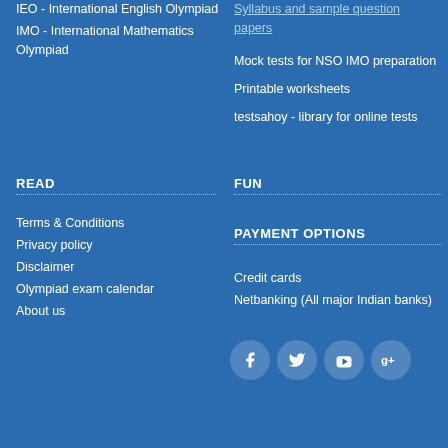IEO - International English Olympiad
IMO - International Mathematics Olympiad
Syllabus and sample question papers
Mock tests for NSO IMO preparation
Printable worksheets
testsahoy - library for online tests
READ
Terms & Conditions
Privacy policy
Disclaimer
Olympiad exam calendar
About us
FUN
PAYMENT OPTIONS
Credit cards
Netbanking (All major Indian banks)
[Figure (infographic): Social media icons: Facebook, Twitter, YouTube, Google+]